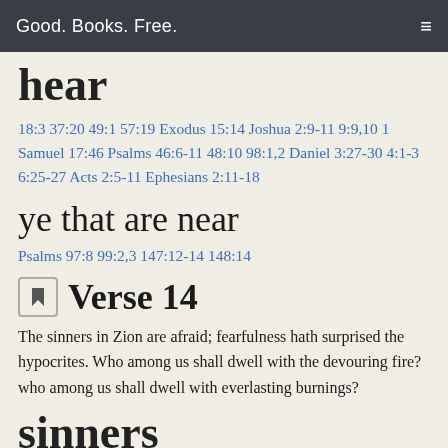Good. Books. Free.
hear
18:3 37:20 49:1 57:19 Exodus 15:14 Joshua 2:9-11 9:9,10 1 Samuel 17:46 Psalms 46:6-11 48:10 98:1,2 Daniel 3:27-30 4:1-3 6:25-27 Acts 2:5-11 Ephesians 2:11-18
ye that are near
Psalms 97:8 99:2,3 147:12-14 148:14
Verse 14
The sinners in Zion are afraid; fearfulness hath surprised the hypocrites. Who among us shall dwell with the devouring fire? who among us shall dwell with everlasting burnings?
sinners